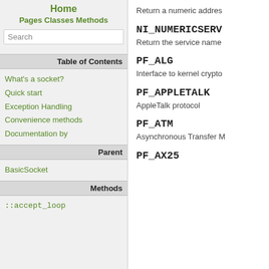Home
Pages Classes Methods
Search
Table of Contents
What's a socket?
Quick start
Exception Handling
Convenience methods
Documentation by
Parent
BasicSocket
Methods
::accept_loop
Return a numeric addres
NI_NUMERICSERV
Return the service name
PF_ALG
Interface to kernel crypto
PF_APPLETALK
AppleTalk protocol
PF_ATM
Asynchronous Transfer M
PF_AX25